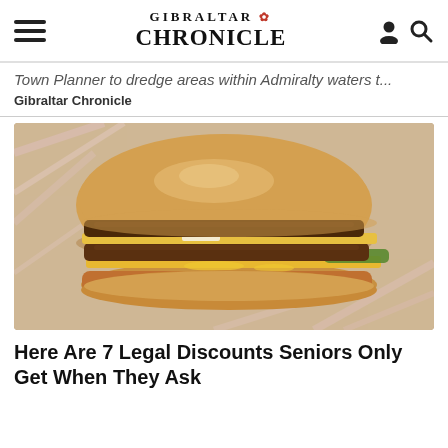GIBRALTAR CHRONICLE
Town Planner to dredge areas within Admiralty waters t...
Gibraltar Chronicle
[Figure (photo): Close-up photo of a double cheeseburger sitting on crinkled fast-food wrapper paper, with two beef patties, melted yellow cheese, and pickles visible]
Here Are 7 Legal Discounts Seniors Only Get When They Ask